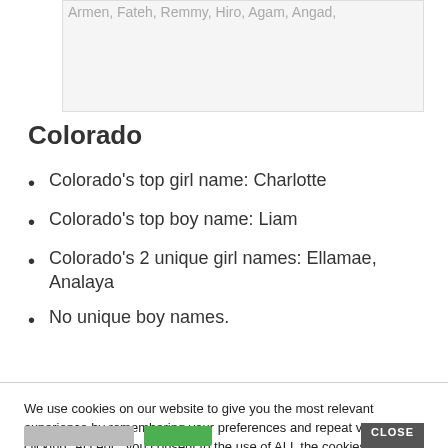Armen, Fateh, Remmy, Hiro, Agam, Angad,
Colorado
Colorado's top girl name: Charlotte
Colorado's top boy name: Liam
Colorado's 2 unique girl names: Ellamae, Analaya
No unique boy names.
We use cookies on our website to give you the most relevant experience by remembering your preferences and repeat visits. By clicking “Accept”, you consent to the use of ALL the cookies.
Do not sell my personal information.